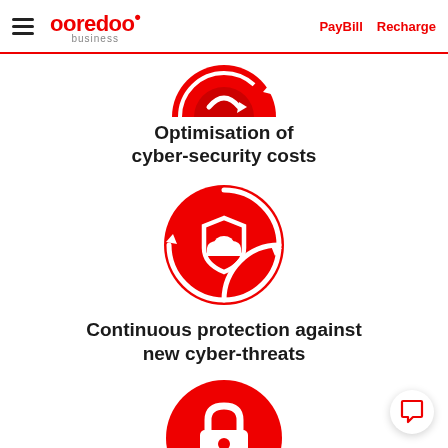ooredoo business | PayBill  Recharge
[Figure (illustration): Red circular icon with two circular arrows and a shield/refresh symbol, partially cropped at top]
Optimisation of cyber-security costs
[Figure (illustration): Red circular icon with circular arrows around a shield containing a cloud symbol]
Continuous protection against new cyber-threats
[Figure (illustration): Red circular icon with a padlock and bar chart symbol, partially cropped at bottom]